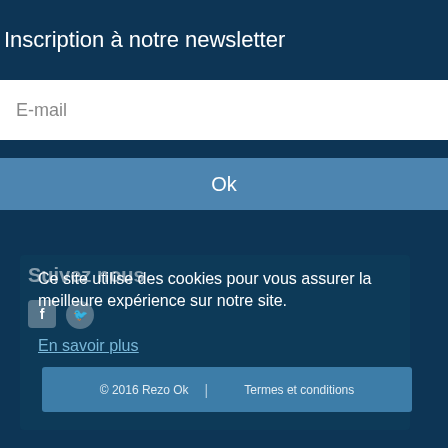Inscription à notre newsletter
E-mail
Ok
Suivez nous
Ce site utilise des cookies pour vous assurer la meilleure expérience sur notre site.
En savoir plus
© 2016 Rezo Ok  |  Termes et conditions